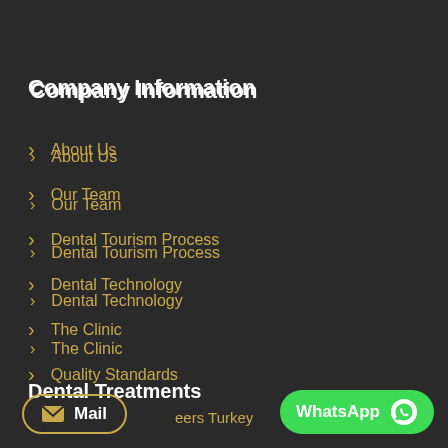Company Information
About Us
Our Team
Dental Tourism Process
Dental Technology
The Clinic
Quality Standards
Our Guarantee
Dental Treatments
Mail
eers Turkey
WhatsApp